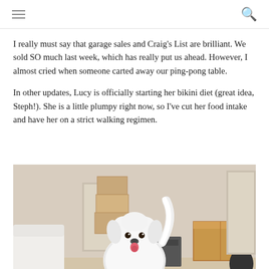navigation bar with hamburger menu and search icon
I really must say that garage sales and Craig's List are brilliant. We sold SO much last week, which has really put us ahead. However, I almost cried when someone carted away our ping-pong table.
In other updates, Lucy is officially starting her bikini diet (great idea, Steph!). She is a little plumpy right now, so I've cut her food intake and have her on a strict walking regimen.
[Figure (photo): A small white fluffy dog (Lucy) standing on carpet in a room with moving boxes, wearing a blue and white outfit/bandana, facing the camera and appearing to smile.]